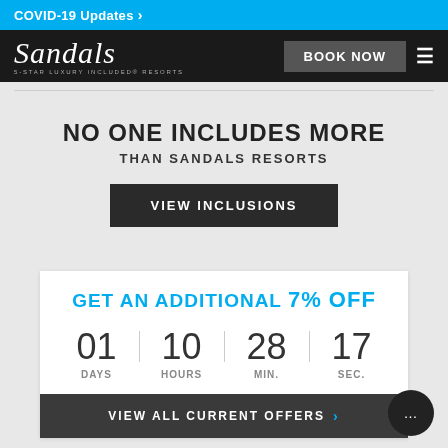COVID-19 Updates >
[Figure (logo): Sandals logo with text '5-STAR LUXURY INCLUDED RESORTS' and BOOK NOW button and hamburger menu]
NO ONE INCLUDES MORE THAN SANDALS RESORTS
VIEW INCLUSIONS
GET AN ADDITIONAL 7% Off
01 DAYS  10 HOURS  28 MIN.  17 SEC.
VIEW ALL CURRENT OFFERS >